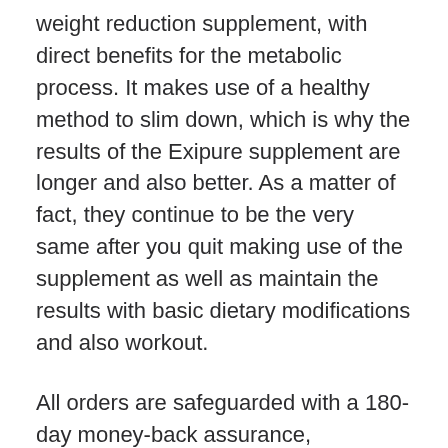weight reduction supplement, with direct benefits for the metabolic process. It makes use of a healthy method to slim down, which is why the results of the Exipure supplement are longer and also better. As a matter of fact, they continue to be the very same after you quit making use of the supplement as well as maintain the results with basic dietary modifications and also workout.
All orders are safeguarded with a 180-day money-back assurance, throughout which you can select to get a reimbursement of your order if it fails to aid you in weight reduction. Do not take even more time because Exipure is selling quick, as well as there are just limited containers left. Check out the main site to verify your order prior to the stock sells out.